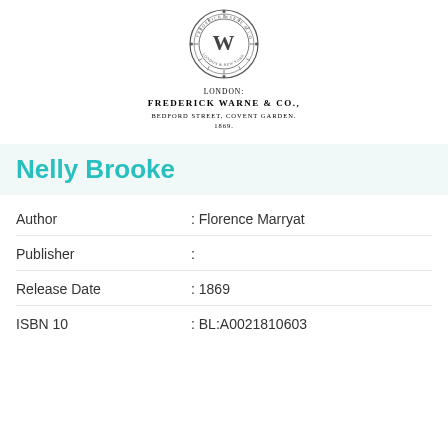[Figure (logo): Circular publisher's emblem/seal with ornate decorative border, letters in center]
LONDON:
FREDERICK WARNE & CO.,
BEDFORD STREET, COVENT GARDEN.
1869.
Nelly Brooke
Author : Florence Marryat
Publisher :
Release Date : 1869
ISBN 10 : BL:A0021810603